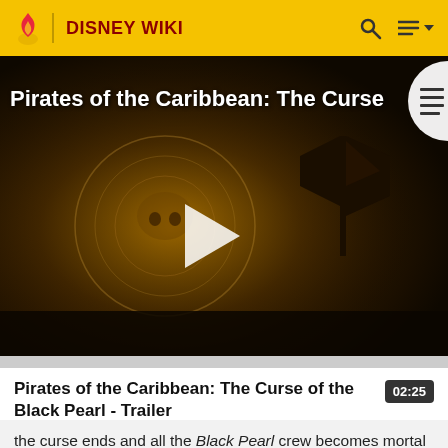DISNEY WIKI
[Figure (screenshot): Video thumbnail for Pirates of the Caribbean: The Curse of the Black Pearl trailer, dark golden-toned cinematic still with a play button overlay]
Pirates of the Caribbean: The Curse of the Black Pearl - Trailer  02:25
the curse ends and all the Black Pearl crew becomes mortal again. Barbossa falls to the treasure-covered ground and drops his sour green apple. Once they realize